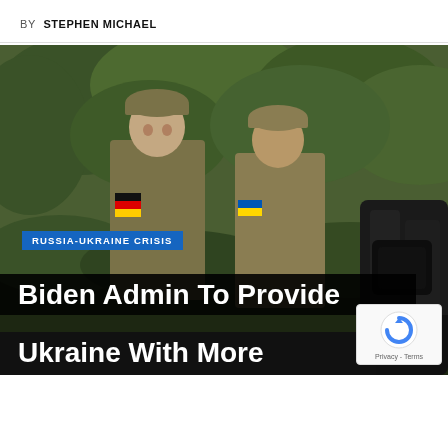BY STEPHEN MICHAEL
[Figure (photo): Two soldiers in camouflage uniforms with German flag arm patches standing in front of green foliage, with a military vehicle or equipment visible on the right]
RUSSIA-UKRAINE CRISIS
Biden Admin To Provide Ukraine With More